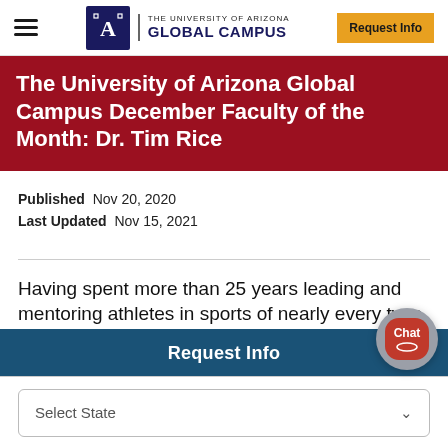THE UNIVERSITY OF ARIZONA GLOBAL CAMPUS | Request Info
The University of Arizona Global Campus December Faculty of the Month: Dr. Tim Rice
Published  Nov 20, 2020
Last Updated  Nov 15, 2021
Having spent more than 25 years leading and mentoring athletes in sports of nearly every type, it’s safe to say that Dr. Tim Rice
Request Info
Select State